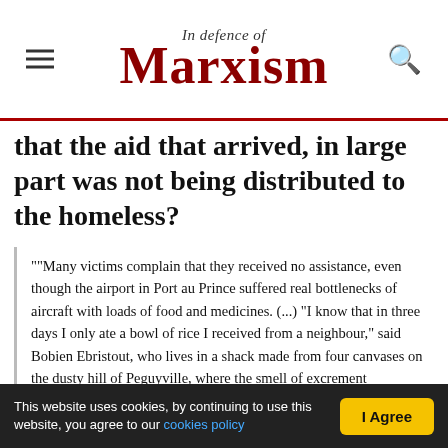In Defence of Marxism
that the aid that arrived, in large part was not being distributed to the homeless?
""Many victims complain that they received no assistance, even though the airport in Port au Prince suffered real bottlenecks of aircraft with loads of food and medicines. (...) "I know that in three days I only ate a bowl of rice I received from a neighbour," said Bobien Ebristout, who lives in a shack made from four canvases on the dusty hill of Peguyville, where the smell of excrement permeates everything." (EFE, 17/01/2010)
'International aid agencies, however, warn that many
This website uses cookies, by continuing to use this website, you agree to our cookies policy  I Agree